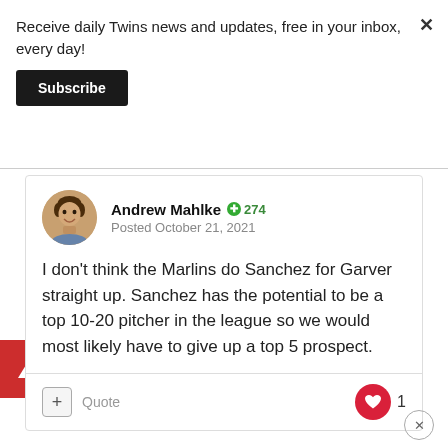Receive daily Twins news and updates, free in your inbox, every day!
Subscribe
Andrew Mahlke ⊕ 274
Posted October 21, 2021
I don't think the Marlins do Sanchez for Garver straight up. Sanchez has the potential to be a top 10-20 pitcher in the league so we would most likely have to give up a top 5 prospect.
Quote
1